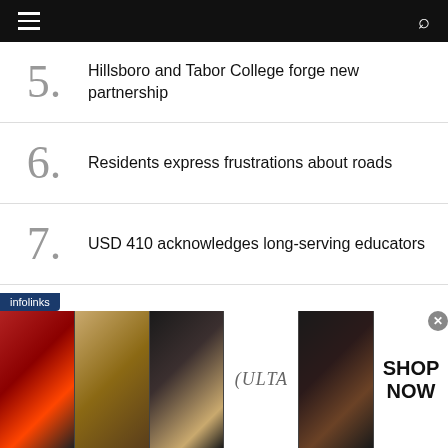navigation bar with hamburger menu and search icon
5. Hillsboro and Tabor College forge new partnership
6. Residents express frustrations about roads
7. USD 410 acknowledges long-serving educators
8. Dept on Aging to offer retirement class
[Figure (advertisement): Infolinks advertisement banner featuring Ulta Beauty makeup imagery with 'SHOP NOW' call to action]